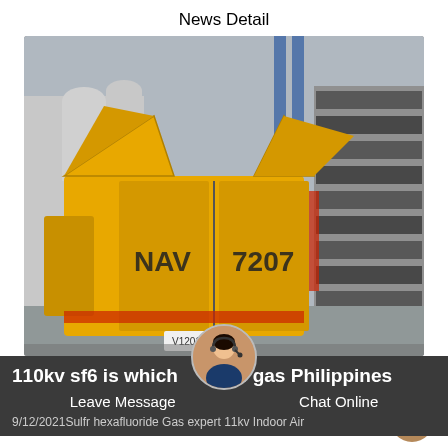News Detail
[Figure (photo): A yellow utility truck (marked NAV 7207) with its rear doors open and roof panels raised, parked near industrial gas cylinder storage racks, photographed from behind.]
110kv sf6 is which type of gas Philippines
Leave Message    Chat Online
9/12/2021Sulfr hexafluoride Gas expert 11kv Indoor Air